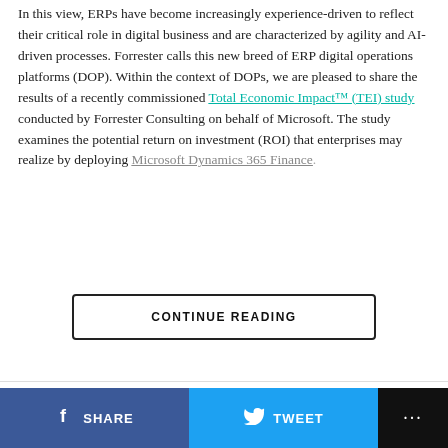In this view, ERPs have become increasingly experience-driven to reflect their critical role in digital business and are characterized by agility and AI-driven processes. Forrester calls this new breed of ERP digital operations platforms (DOP). Within the context of DOPs, we are pleased to share the results of a recently commissioned Total Economic Impact™ (TEI) study conducted by Forrester Consulting on behalf of Microsoft. The study examines the potential return on investment (ROI) that enterprises may realize by deploying Microsoft Dynamics 365 Finance.
CONTINUE READING
SHARE
TWEET